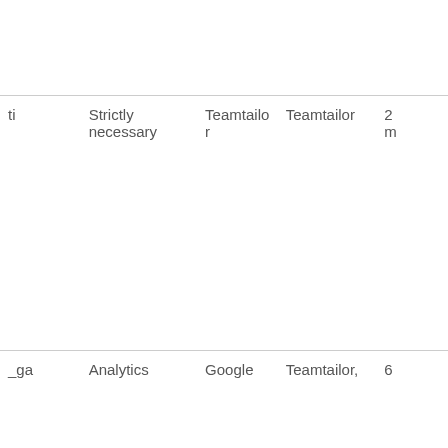| ti | Strictly necessary | Teamtailor | Teamtailor | 2… m… |
| --- | --- | --- | --- | --- |
| _ga | Analytics | Google | Teamtailor, | 6… |